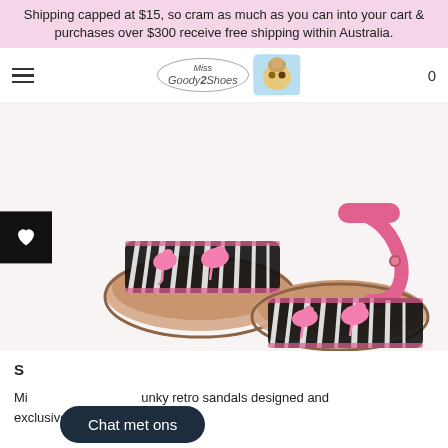Shipping capped at $15, so cram as much as you can into your cart & purchases over $300 receive free shipping within Australia.
[Figure (screenshot): Navigation bar with hamburger menu, Miss Goody 2 Shoes oval logo, cartoon girl mascot image, and shopping cart icon with 0 items]
[Figure (photo): Two children's sandals with zebra print straps featuring pink flamingos, pink ankle strap, and nude footbed]
S...
Mi... unky retro sandals designed and exclusively sold.
[Figure (other): Chat met ons button overlay]